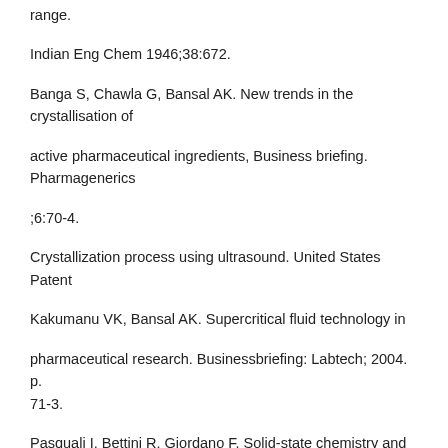range.
Indian Eng Chem 1946;38:672.
Banga S, Chawla G, Bansal AK. New trends in the crystallisation of
active pharmaceutical ingredients, Business briefing. Pharmagenerics
;6:70-4.
Crystallization process using ultrasound. United States Patent
Kakumanu VK, Bansal AK. Supercritical fluid technology in
pharmaceutical research. Businessbriefing: Labtech; 2004. p. 71-3.
Pasquali I, Bettini R, Giordano F. Solid-state chemistry and particle
engineering with supercritical fluids in pharmaceutics. Eur J Pharm Sci
;27:299-310.